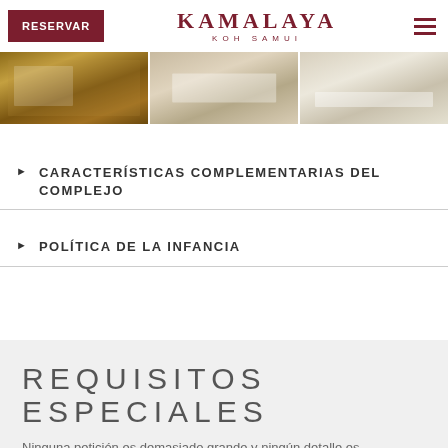RESERVAR | KAMALAYA KOH SAMUI
[Figure (photo): Three hotel room photos side by side: bathroom with wooden furniture, bedroom with white bedding, bathroom with white tub]
CARACTERÍSTICAS COMPLEMENTARIAS DEL COMPLEJO
POLÍTICA DE LA INFANCIA
REQUISITOS ESPECIALES
Ninguna petición es demasiado grande y ningún detalle es